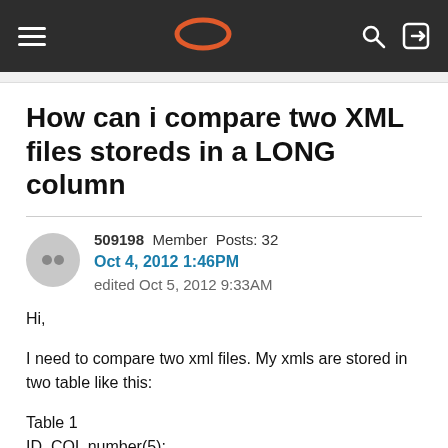Oracle Community navigation bar with hamburger menu, Oracle logo, search and login icons
How can i compare two XML files storeds in a LONG column
509198  Member  Posts: 32
Oct 4, 2012 1:46PM
edited Oct 5, 2012 9:33AM
Hi,
I need to compare two xml files. My xmls are stored in two table like this:
Table 1
ID  COL number(5):